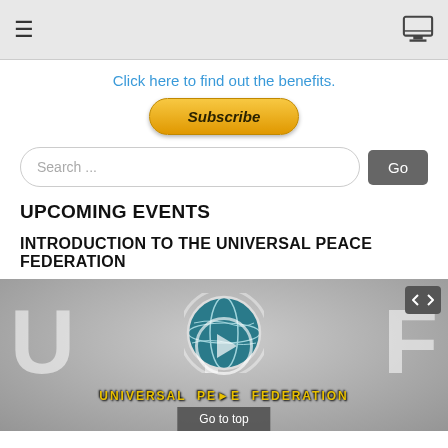Navigation bar with hamburger menu and monitor icon
Click here to find out the benefits.
[Figure (other): PayPal Subscribe button - orange/gold rounded rectangle with italic bold 'Subscribe' text]
[Figure (other): Search input field with placeholder 'Search ...' and Go button]
UPCOMING EVENTS
INTRODUCTION TO THE UNIVERSAL PEACE FEDERATION
[Figure (screenshot): Video thumbnail showing Universal Peace Federation logo with globe, large UPF letters in background, play button overlay, 'UNIVERSAL PEACE FEDERATION' text in gold at bottom, embed button in top-right corner, 'Go to top' overlay at bottom center]